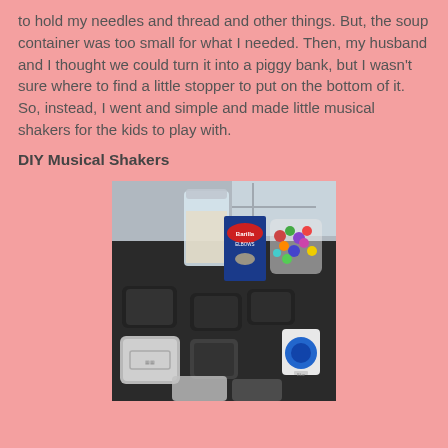to hold my needles and thread and other things. But, the soup container was too small for what I needed. Then, my husband and I thought we could turn it into a piggy bank, but I wasn't sure where to find a little stopper to put on the bottom of it. So, instead, I went and simple and made little musical shakers for the kids to play with.
DIY Musical Shakers
[Figure (photo): A dark table with several small black plastic deli/takeout containers, a clear plastic storage canister, a box of Barilla Elbows pasta, a bag of colorful round candies or toys, and a small blue tape dispenser arranged on the surface.]